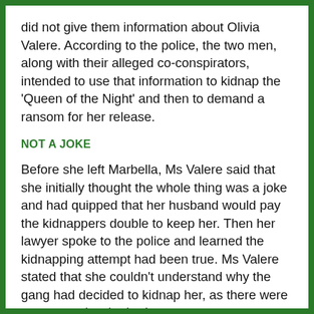did not give them information about Olivia Valere. According to the police, the two men, along with their alleged co-conspirators, intended to use that information to kidnap the 'Queen of the Night' and then to demand a ransom for her release.
NOT A JOKE
Before she left Marbella, Ms Valere said that she initially thought the whole thing was a joke and had quipped that her husband would pay the kidnappers double to keep her. Then her lawyer spoke to the police and learned the kidnapping attempt had been true. Ms Valere stated that she couldn't understand why the gang had decided to kidnap her, as there were many people who had